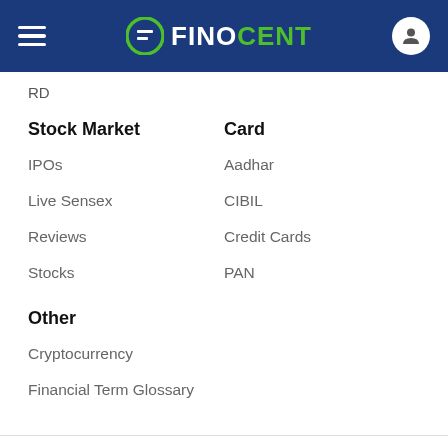FINOCENT
RD
Stock Market
Card
IPOs
Aadhar
Live Sensex
CIBIL
Reviews
Credit Cards
Stocks
PAN
Other
Cryptocurrency
Financial Term Glossary